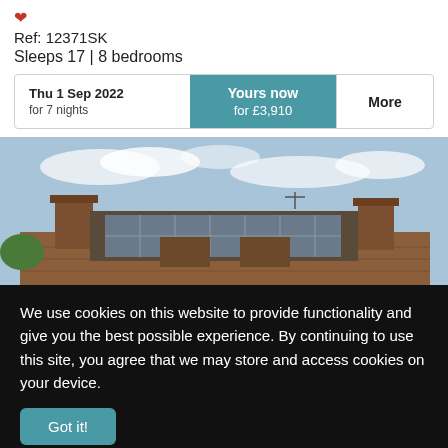Ref: 12371SK
Sleeps 17 | 8 bedrooms
| Date | Offer | Action |
| --- | --- | --- |
| Thu 1 Sep 2022
for 7 nights | Yours now
for £3,910 | More |
[Figure (photo): Exterior photo of a large brick house with solar panels on the roof and multiple chimneys, against a cloudy sky.]
We use cookies on this website to provide functionality and give you the best possible experience. By continuing to use this site, you agree that we may store and access cookies on your device.
Got it!